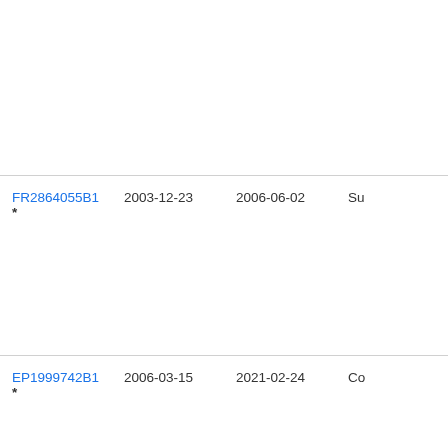| Publication | Filing date | Publication date | Assignee |
| --- | --- | --- | --- |
| FR2864055B1 * | 2003-12-23 | 2006-06-02 | Su… |
| EP1999742B1 * | 2006-03-15 | 2021-02-24 | Co… |
| TWI323292B * | 2006-08-09 | 2010-04-11 | Kin… |
| US7692079B2 | 2007-01-11 | 2010-04-06 | Int… Tec… Llc |
| US7855330B2 | 2008-01-17 | 2010-12-21 | Int… Tec… Llc |
| US8779258B2 | 2012-01-19 | 2014-07-15 | Int… |